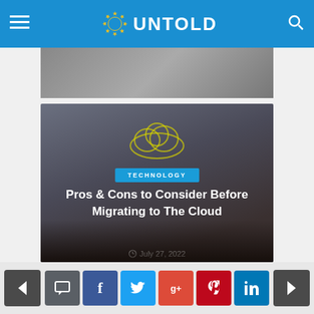UNTOLD
[Figure (photo): Partial view of an article card with a dark background showing a website listing]
[Figure (photo): Article card with cloud illustration, TECHNOLOGY badge, title 'Pros & Cons to Consider Before Migrating to The Cloud', dated July 27, 2022, showing a hand holding a glowing cloud]
Pros & Cons to Consider Before Migrating to The Cloud
July 27, 2022